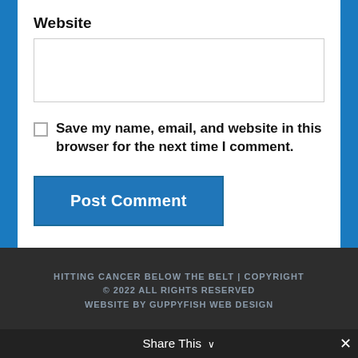Website
Save my name, email, and website in this browser for the next time I comment.
Post Comment
HITTING CANCER BELOW THE BELT | COPYRIGHT © 2022 ALL RIGHTS RESERVED WEBSITE BY GUPPYFISH WEB DESIGN
Share This ∨ ✕